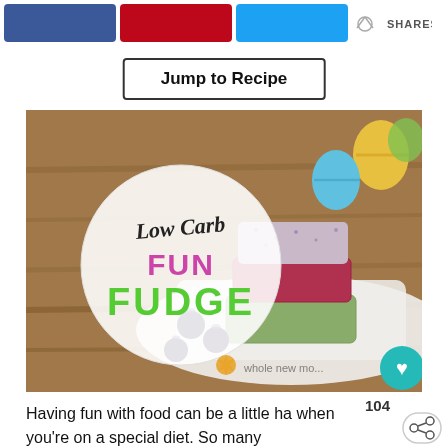[Figure (infographic): Social share buttons: Facebook (blue), Pinterest (red), Twitter (blue), with SHARES label]
Jump to Recipe
[Figure (photo): Photo of stacked colorful fudge squares (blueberry, raspberry, matcha) on a white plate with blueberries scattered around, Easter eggs in background. Circle overlay reads 'Low Carb FUN FUDGE' with 'whole new mo...' watermark. Teal heart button in bottom-right corner.]
104
Having fun with food can be a little ha when you're on a special diet.  So many